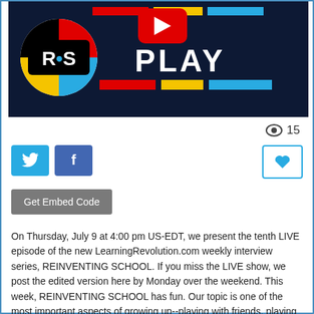[Figure (screenshot): Video thumbnail with RS (Reinventing School) logo on left, YouTube play button icon, color bars (red, yellow, blue), and large white text 'PLAY' on black background]
15
[Figure (infographic): Twitter share button (blue) and Facebook share button (dark blue), with a heart/like button on the right]
Get Embed Code
On Thursday, July 9 at 4:00 pm US-EDT, we present the tenth LIVE episode of the new LearningRevolution.com weekly interview series, REINVENTING SCHOOL. If you miss the LIVE show, we post the edited version here by Monday over the weekend. This week, REINVENTING SCHOOL has fun. Our topic is one of the most important aspects of growing up--playing with friends, playing with peers, playing with family members, making new friends through play, learning through play. Three professional guests will join two students. Becky Wolfe is the Director of School Programs and Educational Resources for The